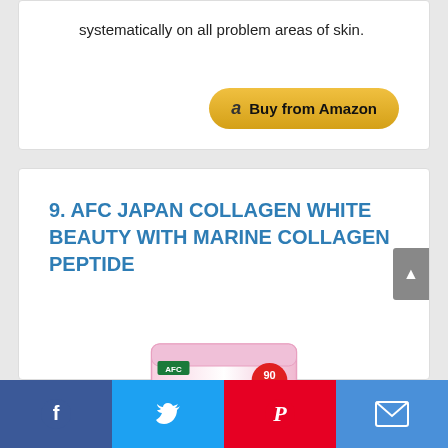systematically on all problem areas of skin.
[Figure (other): Buy from Amazon button with Amazon logo]
9. AFC JAPAN COLLAGEN WHITE BEAUTY WITH MARINE COLLAGEN PEPTIDE
[Figure (photo): AFC Japan Collagen White Beauty with Marine Collagen Peptide product package - white and pink bag with gold details, labeled '90 days', 'Collagen White Beauty']
Social share bar with Facebook, Twitter, Pinterest, and Email icons